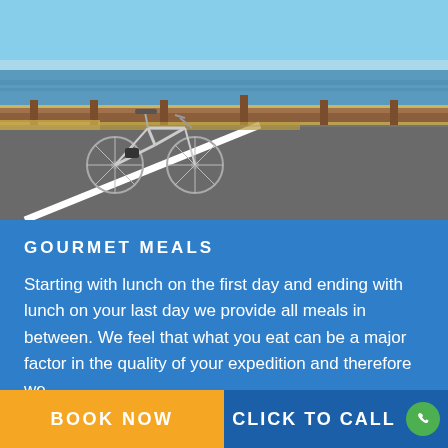[Figure (photo): A road bicycle leaning against a metal guardrail on a coastal road. The road has a white diagonal line marking. Blue sky and water visible in the background.]
GOURMET MEALS
Starting with lunch on the first day and ending with lunch on your last day we provide all meals in between. We feel that what you eat can be a major factor in the quality of your expedition and therefore we
BOOK NOW
CLICK TO CALL